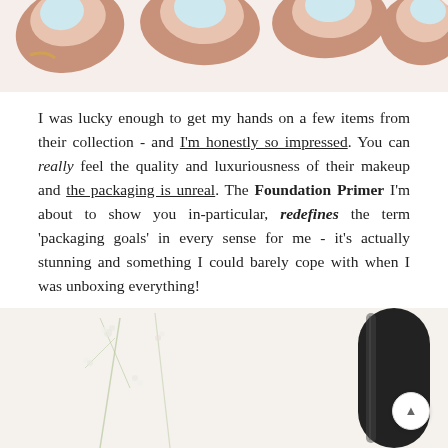[Figure (photo): Close-up photo of fingers/nails with light blue nail polish, warm peach/bronze skin tones, white background]
I was lucky enough to get my hands on a few items from their collection - and I'm honestly so impressed. You can really feel the quality and luxuriousness of their makeup and the packaging is unreal. The Foundation Primer I'm about to show you in-particular, redefines the term 'packaging goals' in every sense for me - it's actually stunning and something I could barely cope with when I was unboxing everything!
[Figure (photo): Photo of a dark/black cylindrical makeup product (Foundation Primer bottle) with white floral stems against a light background]